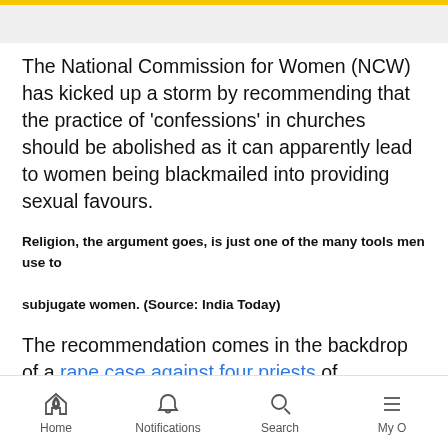The National Commission for Women (NCW) has kicked up a storm by recommending that the practice of 'confessions' in churches should be abolished as it can apparently lead to women being blackmailed into providing sexual favours.
Religion, the argument goes, is just one of the many tools men use to subjugate women. (Source: India Today)
The recommendation comes in the backdrop of a rape case against four priests of Malankara Orthodox Syrian Church in Kerala who have been accused of sexually
Home   Notifications   Search   My O